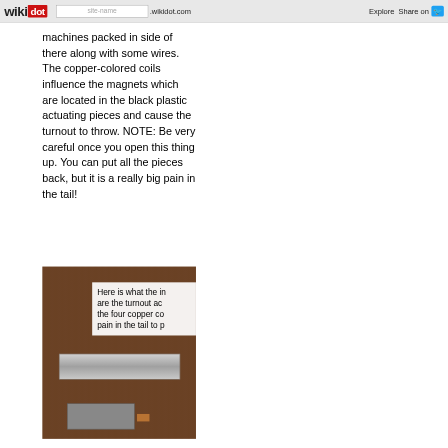wikidot  site-name .wikidot.com  Explore  Share on
machines packed in side of there along with some wires. The copper-colored coils influence the magnets which are located in the black plastic actuating pieces and cause the turnout to throw. NOTE: Be very careful once you open this thing up. You can put all the pieces back, but it is a really big pain in the tail!
[Figure (photo): Photo of the inside of a model railroad turnout machine, showing metal components on a wood surface. An overlay text box reads: 'Here is what the in... are the turnout ac... the four copper co... pain in the tail to p...']